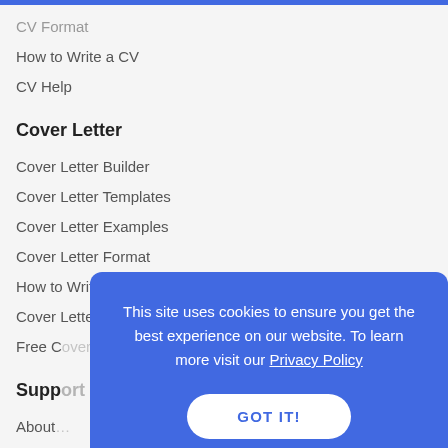CV Format
How to Write a CV
CV Help
Cover Letter
Cover Letter Builder
Cover Letter Templates
Cover Letter Examples
Cover Letter Format
How to Write a Cover Letter
Cover Letter Help
Free C…
Supp…
About…
Conta…
Acces…
Privac…
Terms of service
This site uses cookies to ensure you get the best experience on our website. To learn more visit our Privacy Policy